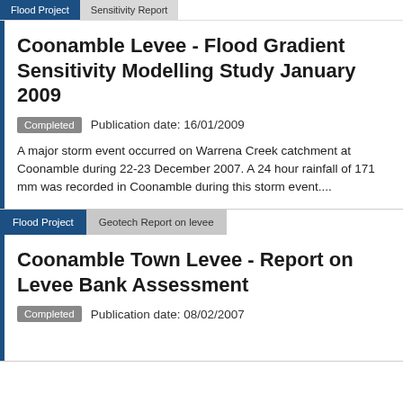Flood Project | Sensitivity Report
Coonamble Levee - Flood Gradient Sensitivity Modelling Study January 2009
Completed   Publication date: 16/01/2009
A major storm event occurred on Warrena Creek catchment at Coonamble during 22-23 December 2007. A 24 hour rainfall of 171 mm was recorded in Coonamble during this storm event....
Flood Project | Geotech Report on levee
Coonamble Town Levee - Report on Levee Bank Assessment
Completed   Publication date: 08/02/2007